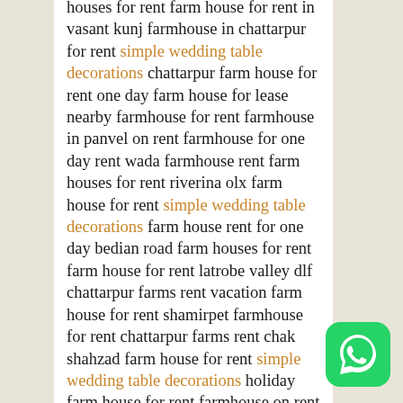houses for rent farm house for rent in vasant kunj farmhouse in chattarpur for rent simple wedding table decorations chattarpur farm house for rent one day farm house for lease nearby farmhouse for rent farmhouse in panvel on rent farmhouse for one day rent wada farmhouse rent farm houses for rent riverina olx farm house for rent simple wedding table decorations farm house rent for one day bedian road farm houses for rent farm house for rent latrobe valley dlf chattarpur farms rent vacation farm house for rent shamirpet farmhouse for rent chattarpur farms rent chak shahzad farm house for rent simple wedding table decorations holiday farm house for rent farmhouse on rent in chattarpur yeoor farmhouse on rent cheap farm houses for rent farmhouse for holiday rental chattarpur farm house rent farm house for rent in sainik farms shamshabad farmhouse for
[Figure (logo): WhatsApp logo button - green rounded square with white phone handset icon]